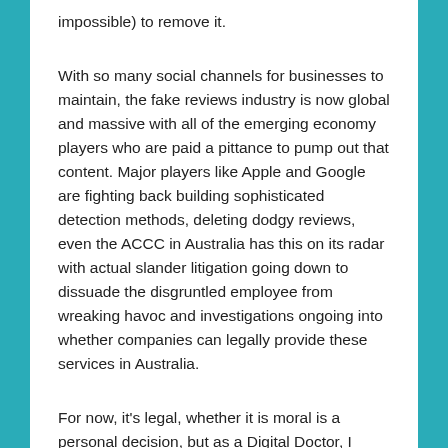impossible) to remove it.
With so many social channels for businesses to maintain, the fake reviews industry is now global and massive with all of the emerging economy players who are paid a pittance to pump out that content. Major players like Apple and Google are fighting back building sophisticated detection methods, deleting dodgy reviews, even the ACCC in Australia has this on its radar with actual slander litigation going down to dissuade the disgruntled employee from wreaking havoc and investigations ongoing into whether companies can legally provide these services in Australia.
For now, it's legal, whether it is moral is a personal decision, but as a Digital Doctor, I would caution you to imagine the impacts on your own business or your customers if the shoe was on another foot.